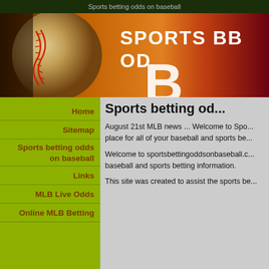Sports betting odds on baseball
[Figure (illustration): Website banner with a baseball image on the left side and orange/red gradient background on the right, with white text 'SPORTS BETTING ODDS' and a large white letter 'B' partially visible]
Home
Sitemap
Sports betting odds on baseball
Links
MLB Live Odds
Online MLB Betting
Sports betting odds on baseball
August 21st MLB news ... Welcome to Sports betting odds on baseball, your one-stop place for all of your baseball and sports betting needs.
Welcome to sportsbettingoddsonbaseball.com for all of your baseball and sports betting information.
This site was created to assist the sports bettor